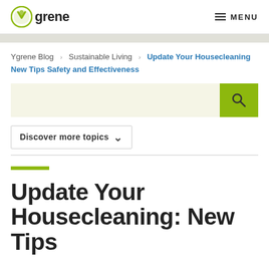Ygrene  MENU
Ygrene Blog > Sustainable Living > Update Your Housecleaning New Tips Safety and Effectiveness
[Figure (other): Search input field with yellow-green search button and magnifying glass icon]
Discover more topics ∨
Update Your Housecleaning: New Tips